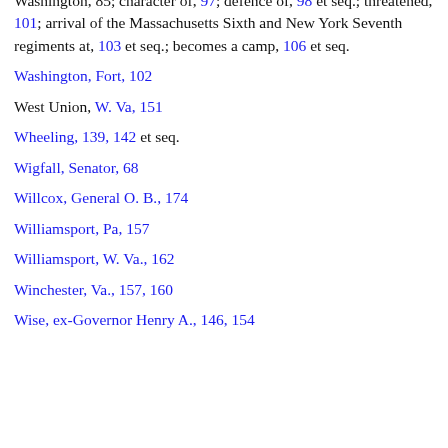Washington, 85; character of, 97; defence of, 98 et seq.; threatened, 101; arrival of the Massachusetts Sixth and New York Seventh regiments at, 103 et seq.; becomes a camp, 106 et seq.
Washington, Fort, 102
West Union, W. Va, 151
Wheeling, 139, 142 et seq.
Wigfall, Senator, 68
Willcox, General O. B., 174
Williamsport, Pa, 157
Williamsport, W. Va., 162
Winchester, Va., 157, 160
Wise, ex-Governor Henry A., 146, 154